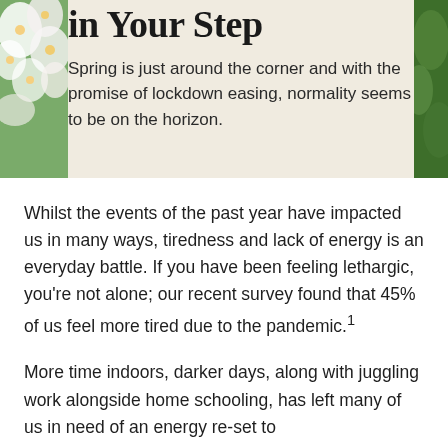in Your Step
Spring is just around the corner and with the promise of lockdown easing, normality seems to be on the horizon.
Whilst the events of the past year have impacted us in many ways, tiredness and lack of energy is an everyday battle. If you have been feeling lethargic, you're not alone; our recent survey found that 45% of us feel more tired due to the pandemic.¹
More time indoors, darker days, along with juggling work alongside home schooling, has left many of us in need of an energy re-set to